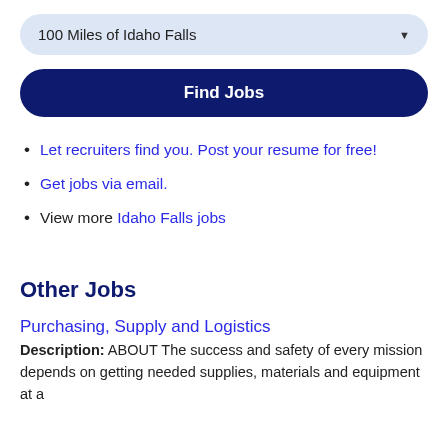100 Miles of Idaho Falls
Find Jobs
Let recruiters find you. Post your resume for free!
Get jobs via email.
View more Idaho Falls jobs
Other Jobs
Purchasing, Supply and Logistics
Description: ABOUT The success and safety of every mission depends on getting needed supplies, materials and equipment at a